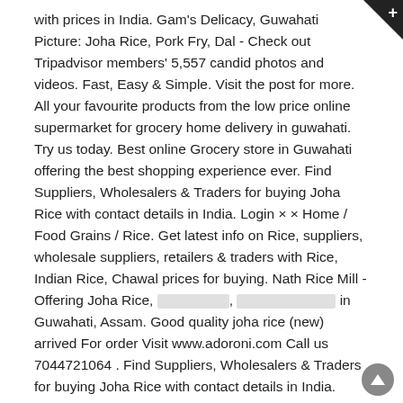with prices in India. Gam's Delicacy, Guwahati Picture: Joha Rice, Pork Fry, Dal - Check out Tripadvisor members' 5,557 candid photos and videos. Fast, Easy & Simple. Visit the post for more. All your favourite products from the low price online supermarket for grocery home delivery in guwahati. Try us today. Best online Grocery store in Guwahati offering the best shopping experience ever. Find Suppliers, Wholesalers & Traders for buying Joha Rice with contact details in India. Login × × Home / Food Grains / Rice. Get latest info on Rice, suppliers, wholesale suppliers, retailers & traders with Rice, Indian Rice, Chawal prices for buying. Nath Rice Mill - Offering Joha Rice, [blurred], [blurred] in Guwahati, Assam. Good quality joha rice (new) arrived For order Visit www.adoroni.com Call us 7044721064 . Find Suppliers, Wholesalers & Traders for buying Joha Rice with contact details in India. COD & Online Payment available. Find Best Quality Joha Rice online with prices in India. Known for its sweet-scented aroma and taste, the rice is indeed a special heirloom grain of Northeast India. Call +91-9864134399. Joha rice is only grown in the Northeast region of India. Find here details of companies selling Rice in Guwahati, Assam. It is known for it's sweet aroma, superfine kernels, good cooking quality and excellent palatability & taste. Get best price